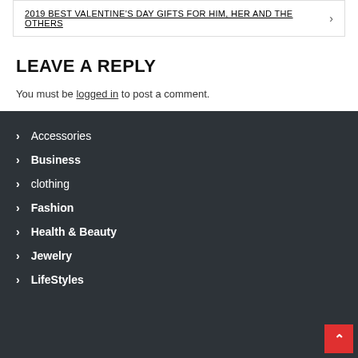2019 BEST VALENTINE'S DAY GIFTS FOR HIM, HER AND THE OTHERS
LEAVE A REPLY
You must be logged in to post a comment.
Accessories
Business
clothing
Fashion
Health & Beauty
Jewelry
LifeStyles